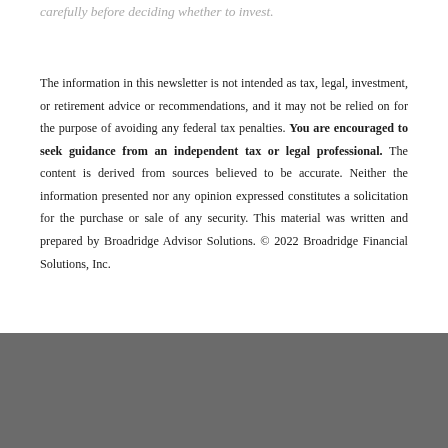carefully before deciding whether to invest.
The information in this newsletter is not intended as tax, legal, investment, or retirement advice or recommendations, and it may not be relied on for the purpose of avoiding any federal tax penalties. You are encouraged to seek guidance from an independent tax or legal professional. The content is derived from sources believed to be accurate. Neither the information presented nor any opinion expressed constitutes a solicitation for the purchase or sale of any security. This material was written and prepared by Broadridge Advisor Solutions. © 2022 Broadridge Financial Solutions, Inc.